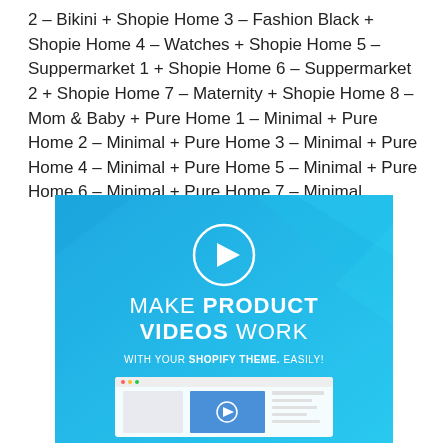2 – Bikini + Shopie Home 3 – Fashion Black + Shopie Home 4 – Watches + Shopie Home 5 – Suppermarket 1 + Shopie Home 6 – Suppermarket 2 + Shopie Home 7 – Maternity + Shopie Home 8 – Mom & Baby + Pure Home 1 – Minimal + Pure Home 2 – Minimal + Pure Home 3 – Minimal + Pure Home 4 – Minimal + Pure Home 5 – Minimal + Pure Home 6 – Minimal + Pure Home 7 – Minimal
[Figure (screenshot): Promotional banner with blue gradient background, play button circle at top, text 'MAKE PRODUCT VIDEOS WORK WITH YOUR SHOPIFY THEME. EASILY!' and a browser mockup showing a video player at the bottom.]